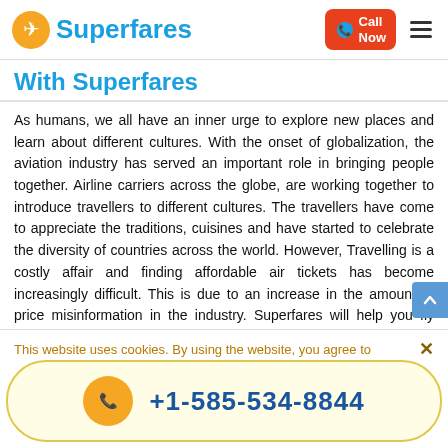Superfares
With Superfares
As humans, we all have an inner urge to explore new places and learn about different cultures. With the onset of globalization, the aviation industry has served an important role in bringing people together. Airline carriers across the globe, are working together to introduce travellers to different cultures. The travellers have come to appreciate the traditions, cuisines and have started to celebrate the diversity of countries across the world. However, Travelling is a costly affair and finding affordable air tickets has become increasingly difficult. This is due to an increase in the amount of price misinformation in the industry. Superfares will help you fly across the world. If you are
This website uses cookies. By using the website, you agree to
+1-585-534-8844